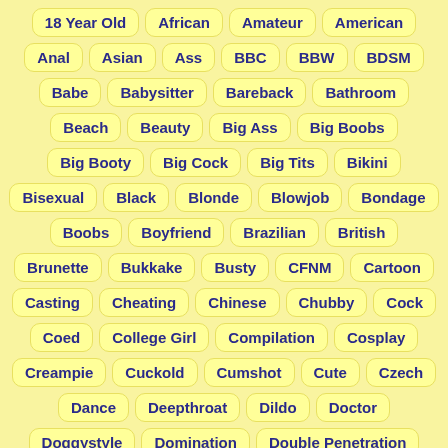18 Year Old
African
Amateur
American
Anal
Asian
Ass
BBC
BBW
BDSM
Babe
Babysitter
Bareback
Bathroom
Beach
Beauty
Big Ass
Big Boobs
Big Booty
Big Cock
Big Tits
Bikini
Bisexual
Black
Blonde
Blowjob
Bondage
Boobs
Boyfriend
Brazilian
British
Brunette
Bukkake
Busty
CFNM
Cartoon
Casting
Cheating
Chinese
Chubby
Cock
Coed
College Girl
Compilation
Cosplay
Creampie
Cuckold
Cumshot
Cute
Czech
Dance
Deepthroat
Dildo
Doctor
Doggystyle
Domination
Double Penetration
Dutch
Ebony
Erotic